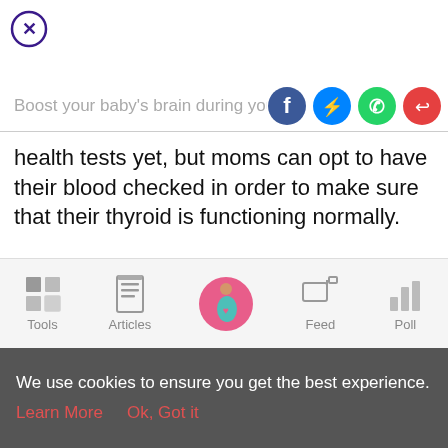[Figure (illustration): Circle with X close button in purple/dark outline]
Boost your baby's brain during your p
health tests yet, but moms can opt to have their blood checked in order to make sure that their thyroid is functioning normally.
Eating food rich in iodine such as yogurt, milk, and iodized salt can help regulate your thyroid.
[Figure (illustration): Bottom navigation bar with Tools, Articles, home (pregnant woman pink circle), Feed, Poll icons]
We use cookies to ensure you get the best experience. Learn More   Ok, Got it